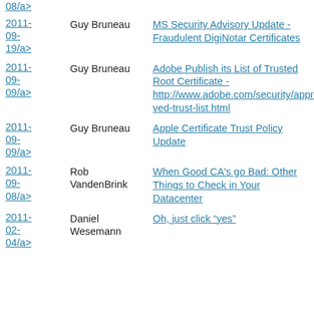2011-08/a> | Guy Bruneau | MS Security Advisory Update - Fraudulent DigiNotar Certificates
2011-09-19/a> | Guy Bruneau | MS Security Advisory Update - Fraudulent DigiNotar Certificates
2011-09-09/a> | Guy Bruneau | Adobe Publish its List of Trusted Root Certificate - http://www.adobe.com/security/approved-trust-list.html
2011-09-09/a> | Guy Bruneau | Apple Certificate Trust Policy Update
2011-09-08/a> | Rob VandenBrink | When Good CA's go Bad: Other Things to Check in Your Datacenter
2011-02-04/a> | Daniel Wesemann | Oh, just click "yes"